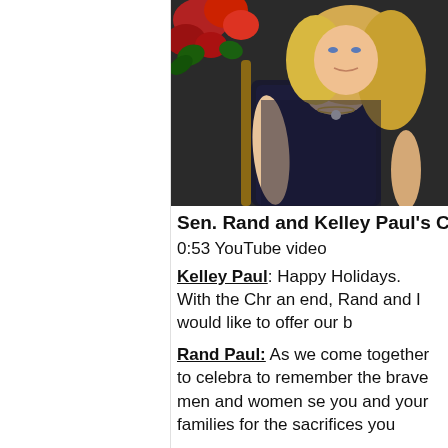[Figure (photo): Photo of a blonde woman in a dark sleeveless top seated with poinsettia flowers in background, Christmas setting]
Sen. Rand and Kelley Paul's Christmas
0:53 YouTube video
Kelley Paul: Happy Holidays.  With the Chr an end, Rand and I would like to offer our b
Rand Paul: As we come together to celebra to remember the brave men and women se you and your families for the sacrifices you
Kelley Paul: We are blessed and privileged freedoms allow us to rejoice freely in the C
Rand Paul: We'd also like to extend our we